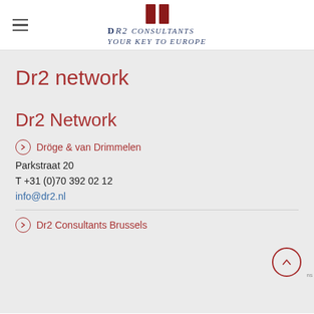Dr2 Consultants — your key to Europe
Dr2 network
Dr2 Network
Dröge & van Drimmelen
Parkstraat 20
T +31 (0)70 392 02 12
info@dr2.nl
Dr2 Consultants Brussels